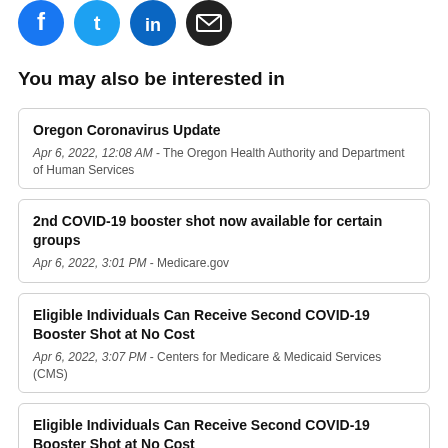[Figure (illustration): Four social media sharing icons (Facebook blue, Twitter blue, LinkedIn blue, Email black) in circular buttons at the top of the page]
You may also be interested in
Oregon Coronavirus Update
Apr 6, 2022, 12:08 AM - The Oregon Health Authority and Department of Human Services
2nd COVID-19 booster shot now available for certain groups
Apr 6, 2022, 3:01 PM - Medicare.gov
Eligible Individuals Can Receive Second COVID-19 Booster Shot at No Cost
Apr 6, 2022, 3:07 PM - Centers for Medicare & Medicaid Services (CMS)
Eligible Individuals Can Receive Second COVID-19 Booster Shot at No Cost
Apr 6, 2022, 3:14 PM - Centers for Medicare & Medicaid Services (CMS)